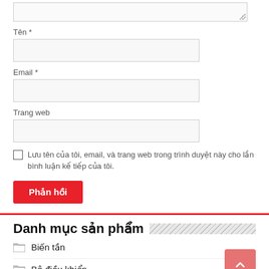[Figure (screenshot): Textarea stub at top of page (partially visible)]
Tên *
[Figure (screenshot): Text input box for Tên (Name) field]
Email *
[Figure (screenshot): Text input box for Email field]
Trang web
[Figure (screenshot): Text input box for Trang web (Website) field]
Lưu tên của tôi, email, và trang web trong trình duyệt này cho lần bình luận kế tiếp của tôi.
Phản hồi
Danh mục sản phẩm
Biến tần
Bộ điều khiển